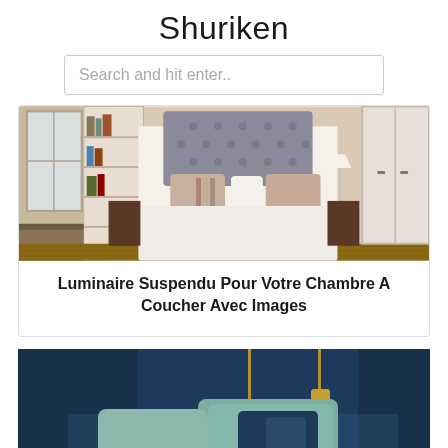Shuriken
Search and hit enter..
[Figure (photo): Beige bedroom with tufted gray headboard, colorful pillows, built-in white bookshelves on the left, white wardrobe on the right, hardwood floor]
Luminaire Suspendu Pour Votre Chambre A Coucher Avec Images
[Figure (photo): Dark navy blue bedroom with pendant gold/brass lights, teal/sage green bedding and pillows, dark blue floating nightstand shelf]